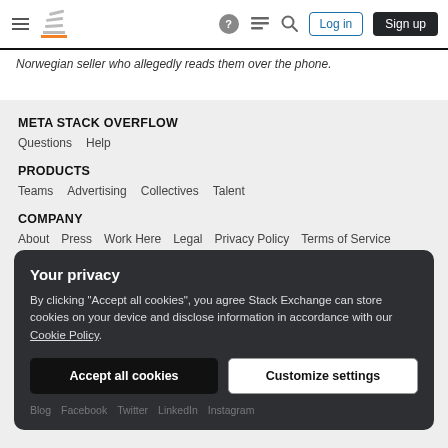Stack Overflow header with hamburger menu, logo, help, chat, search icons, Log in and Sign up buttons
Norwegian seller who allegedly reads them over the phone.
META STACK OVERFLOW
Questions   Help
PRODUCTS
Teams   Advertising   Collectives   Talent
COMPANY
About   Press   Work Here   Legal   Privacy Policy   Terms of Service   Contact Us   Cookie Settings   Cookie Policy
Your privacy
By clicking "Accept all cookies", you agree Stack Exchange can store cookies on your device and disclose information in accordance with our Cookie Policy.
Accept all cookies   Customize settings
Blog   Facebook   Twitter   LinkedIn   Instagram